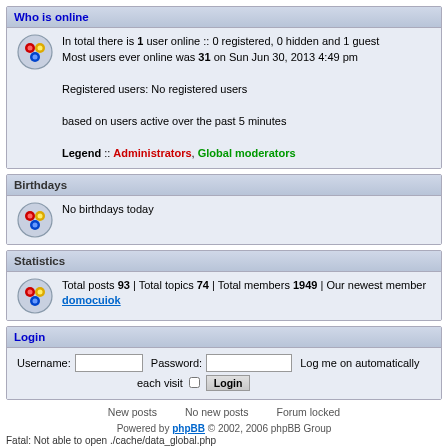Who is online
In total there is 1 user online :: 0 registered, 0 hidden and 1 guest
Most users ever online was 31 on Sun Jun 30, 2013 4:49 pm

Registered users: No registered users

based on users active over the past 5 minutes

Legend :: Administrators, Global moderators
Birthdays
No birthdays today
Statistics
Total posts 93 | Total topics 74 | Total members 1949 | Our newest member domocuiok
Login
Username: [input] Password: [input] Log me on automatically each visit [checkbox] Login
New posts    No new posts    Forum locked
Powered by phpBB © 2002, 2006 phpBB Group
Fatal: Not able to open ./cache/data_global.php